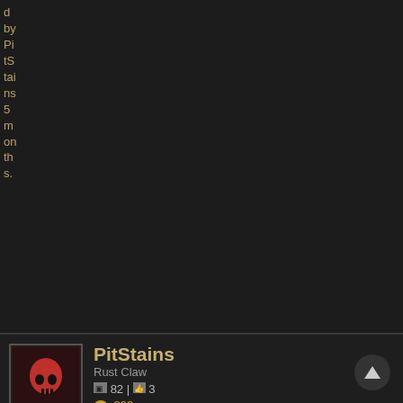d by PitStains 5 months.
PitStains
Rust Claw
82 | 3
893
Shiverhood seems like a helm that might be handy when you need extra tanky-ness. Might use it on Ascendant Riftwalker, donno.
5 months
caindarkk
Prowler
17 | 0
3
PitStains wrote: